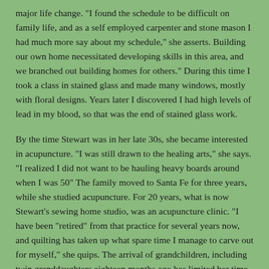major life change. "I found the schedule to be difficult on family life, and as a self employed carpenter and stone mason I had much more say about my schedule," she asserts. Building our own home necessitated developing skills in this area, and we branched out building homes for others." During this time I took a class in stained glass and made many windows, mostly with floral designs. Years later I discovered I had high levels of lead in my blood, so that was the end of stained glass work.
By the time Stewart was in her late 30s, she became interested in acupuncture. "I was still drawn to the healing arts," she says. "I realized I did not want to be hauling heavy boards around when I was 50" The family moved to Santa Fe for three years, while she studied acupuncture. For 20 years, what is now Stewart’s sewing home studio, was an acupuncture clinic. “I have been “retired” from that practice for several years now, and quilting has taken up what spare time I manage to carve out for myself," she quips. The arrival of grandchildren, including twin granddaughters eighteen months ago has limited her time for quilting. Stewart’s daughter is Lara O’Keefe, a well regarded Chatham County potter.
Since childhood, Stewart had a passion for the bright prints and colors in fabric, and she had quite a stash of fabric even before she made her first real quilt about 11 years ago. "I was in the local fabric store, Thimble Pleasures, when I fell in love with a quilt hanging on the wall in the shop. "I took a class and off I went," she exclaims. "I am very grateful to Julie Holbrook for creating such a nourishing, stimulating fabric shop just 25 minutes from